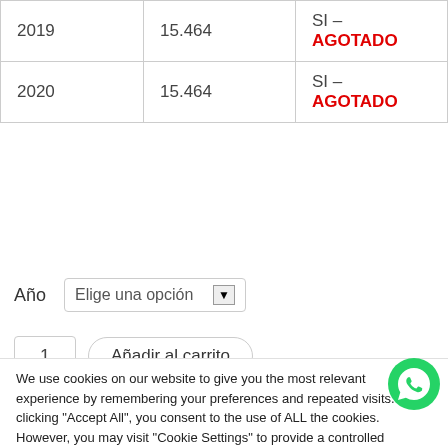| Año | Precio | Disponibilidad |
| --- | --- | --- |
| 2019 | 15.464 | SI – AGOTADO |
| 2020 | 15.464 | SI – AGOTADO |
Año   Elige una opción ▼
1   Añadir al carrito
We use cookies on our website to give you the most relevant experience by remembering your preferences and repeated visits. By clicking "Accept All", you consent to the use of ALL the cookies. However, you may visit "Cookie Settings" to provide a controlled consent.
Cookie Settings   Accept All